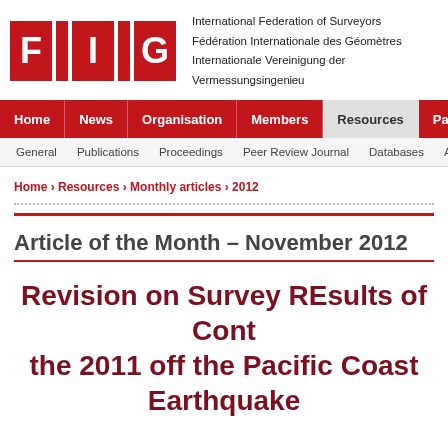[Figure (logo): FIG logo with three red boxes containing letters F, I, G]
International Federation of Surveyors
Fédération Internationale des Géomètres
Internationale Vereinigung der Vermessungsingenieue
Home | News | Organisation | Members | Resources | Partners
General | Publications | Proceedings | Peer Review Journal | Databases | Arti...
Home › Resources › Monthly articles › 2012
Article of the Month – November 2012
Revision on Survey REsults of Cont... the 2011 off the Pacific Coast... Earthquake